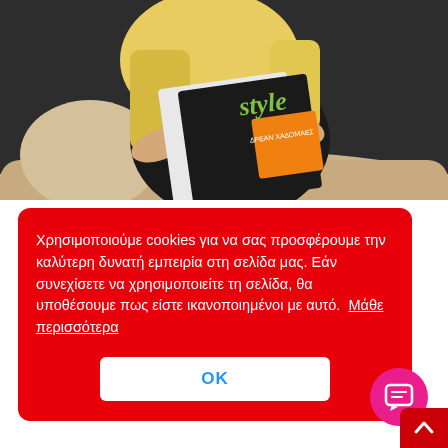[Figure (photo): Woman with blonde hair sitting on a beige sofa reading a magazine called 'style' with an orange cover]
Χρησιμοποιούμε cookies για να σας προσφέρουμε την καλύτερη δυνατή εμπειρία στη σελίδα μας. Εάν συνεχίσετε να χρησιμοποιείτε τη σελίδα, θα υποθέσουμε πως είστε ικανοποιημένοι με αυτό. Μάθε περισσότερα
OK